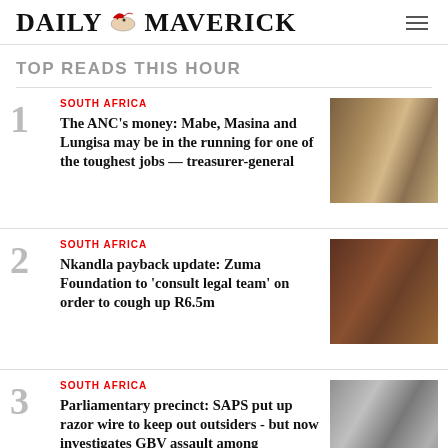DAILY MAVERICK
TOP READS THIS HOUR
1 SOUTH AFRICA — The ANC's money: Mabe, Masina and Lungisa may be in the running for one of the toughest jobs — treasurer-general
2 SOUTH AFRICA — Nkandla payback update: Zuma Foundation to 'consult legal team' on order to cough up R6.5m
3 SOUTH AFRICA — Parliamentary precinct: SAPS put up razor wire to keep out outsiders - but now investigates GBV assault among